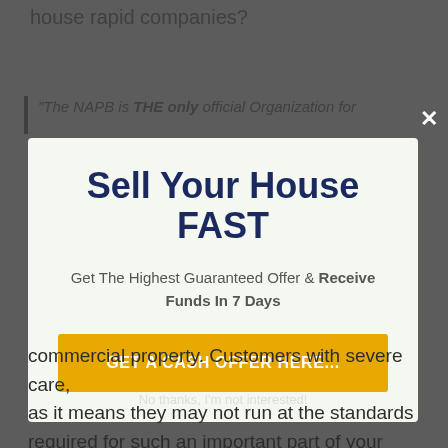house rapid companies?
"The NAPB is THE only official Organization for
Sell Your House FAST
Get The Highest Guaranteed Offer & Receive Funds In 7 Days
GET A CASH OFFER HERE...
No thanks, I'm not interested!
commercial property. Customers with severe care, as it means they may not run at the standards required for such an important part of your life...